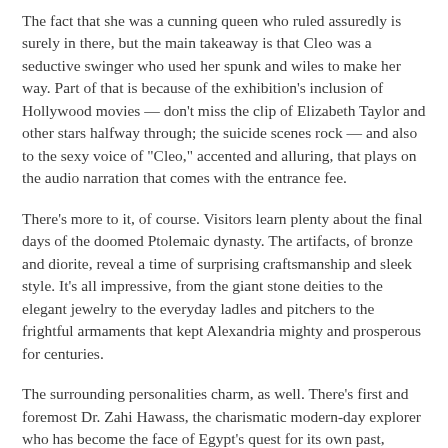The fact that she was a cunning queen who ruled assuredly is surely in there, but the main takeaway is that Cleo was a seductive swinger who used her spunk and wiles to make her way. Part of that is because of the exhibition's inclusion of Hollywood movies — don't miss the clip of Elizabeth Taylor and other stars halfway through; the suicide scenes rock — and also to the sexy voice of "Cleo," accented and alluring, that plays on the audio narration that comes with the entrance fee.
There's more to it, of course. Visitors learn plenty about the final days of the doomed Ptolemaic dynasty. The artifacts, of bronze and diorite, reveal a time of surprising craftsmanship and sleek style. It's all impressive, from the giant stone deities to the elegant jewelry to the everyday ladles and pitchers to the frightful armaments that kept Alexandria mighty and prosperous for centuries.
The surrounding personalities charm, as well. There's first and foremost Dr. Zahi Hawass, the charismatic modern-day explorer who has become the face of Egypt's quest for its own past, searching for Cleopatra's tomb on land. His co-star